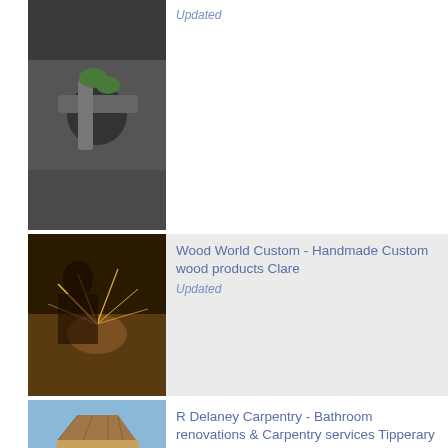[Figure (photo): Person in green gloves working with pipes/plumbing equipment]
Updated
[Figure (photo): Person working with wood, sparks flying, woodworking scene]
Wood World Custom - Handmade Custom wood products Clare
Updated
[Figure (photo): Rural landscape with a thatched or damaged roof building and green fields]
R Delaney Carpentry - Bathroom renovations & Carpentry services Tipperary
Updated
[Figure (photo): Person working outdoors, roofing or property maintenance scene]
Winter proof Roofing - Roofing & Property Maintenance Leinster &